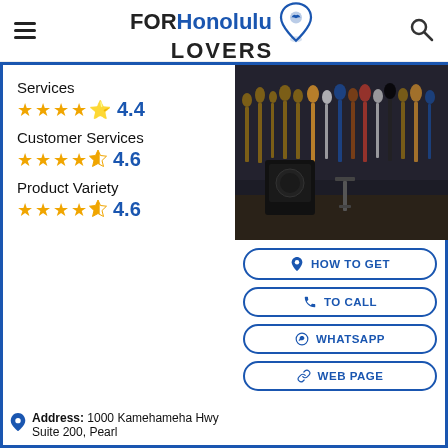FOR Honolulu LOVERS
Services
4.4
Customer Services
4.6
Product Variety
4.6
[Figure (photo): Interior of a guitar shop with many guitars hanging on walls in rows]
HOW TO GET
TO CALL
WHATSAPP
WEB PAGE
Address: 1000 Kamehameha Hwy Suite 200, Pearl